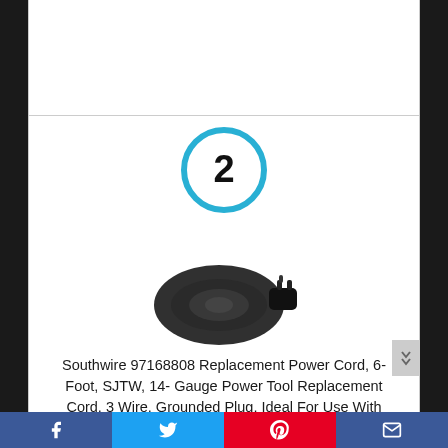[Figure (other): Number 2 inside a blue circle badge]
[Figure (photo): Southwire black coiled replacement power cord with grounded plug]
Southwire 97168808 Replacement Power Cord, 6-Foot, SJTW, 14- Gauge Power Tool Replacement Cord, 3 Wire, Grounded Plug, Ideal For Use With Garage and Workshop Tools, Medium Duty Replacement Cord,15
[Figure (infographic): Social share bar with Facebook, Twitter, Pinterest, and mail icons]